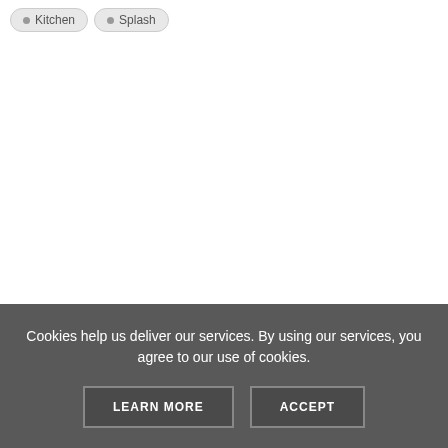Kitchen
Splash
Cookies help us deliver our services. By using our services, you agree to our use of cookies.
LEARN MORE
ACCEPT